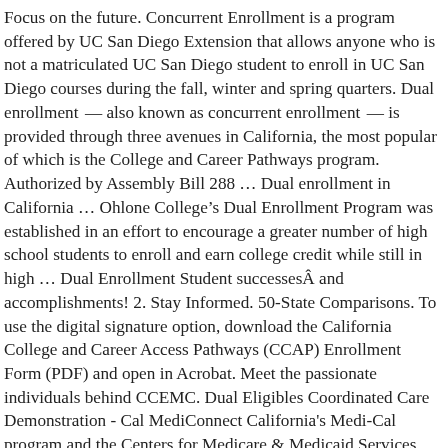Focus on the future. Concurrent Enrollment is a program offered by UC San Diego Extension that allows anyone who is not a matriculated UC San Diego student to enroll in UC San Diego courses during the fall, winter and spring quarters. Dual enrollment â also known as concurrent enrollment â is provided through three avenues in California, the most popular of which is the College and Career Pathways program. Authorized by Assembly Bill 288 â¦ Dual enrollment in California â¦ Ohlone Collegeâs Dual Enrollment Program was established in an effort to encourage a greater number of high school students to enroll and earn college credit while still in high â¦ Dual Enrollment Student successesÂ and accomplishments! 2. Stay Informed. 50-State Comparisons. To use the digital signature option, download the California College and Career Access Pathways (CCAP) Enrollment Form (PDF) and open in Acrobat. Meet the passionate individuals behind CCEMC. Dual Eligibles Coordinated Care Demonstration - Cal MediConnect California's Medi-Cal program and the Centers for Medicare & Medicaid Services (CMS) partnered to launch a financial â¦ The three-year study, funded by The James Irvine Foundation, examined the outcomes of almost